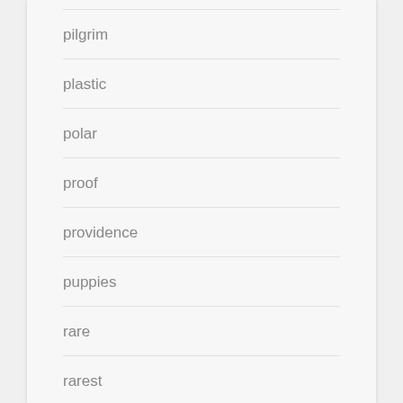pilgrim
plastic
polar
proof
providence
puppies
rare
rarest
reduced